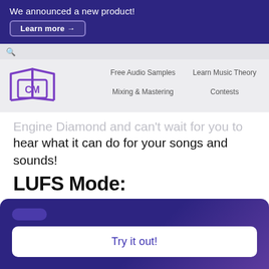We announced a new product! Learn more →
[Figure (logo): CM logo — stylized book icon with purple outline]
Free Audio Samples
Learn Music Theory
Mixing & Mastering
Contests
Engine Diamond and can't wait for you to hear what it can do for your songs and sounds!
LUFS Mode:
For the first time, we are offering mastering that covers all popular streaming platform LUFS
Try it out!